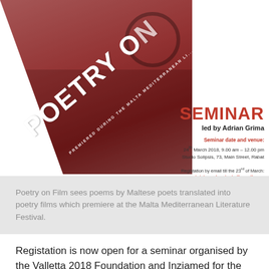[Figure (illustration): Poster for Poetry on Film event with red/pink background and overlaid text POETRY ON... with 'PREMIERED DURING THE MALTA MEDITERRANEAN...' text]
SEMINAR
led by Adrian Grima
Seminar date and venue:
24th March 2018, 9.00 am – 12.00 pm
Studio Solipsis, 73, Main Street, Rabat
Registation by email till the 23rd of March: inizjamedprojects@gmail.com
[Figure (logo): Inizjamed logo]
[Figure (logo): Festival Mediterranju tal-letteratura ta' Malta logo]
Poetry on Film sees poems by Maltese poets translated into poetry films which premiere at the Malta Mediterranean Literature Festival.
Registation is now open for a seminar organised by the Valletta 2018 Foundation and Inzjamed for the Poetry on Film project. The seminar is...